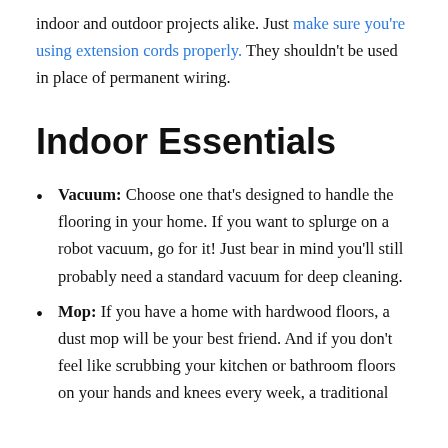indoor and outdoor projects alike. Just make sure you're using extension cords properly. They shouldn't be used in place of permanent wiring.
Indoor Essentials
Vacuum: Choose one that's designed to handle the flooring in your home. If you want to splurge on a robot vacuum, go for it! Just bear in mind you'll still probably need a standard vacuum for deep cleaning.
Mop: If you have a home with hardwood floors, a dust mop will be your best friend. And if you don't feel like scrubbing your kitchen or bathroom floors on your hands and knees every week, a traditional